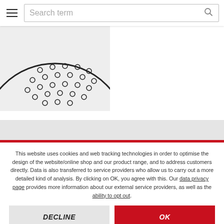Search term
[Figure (illustration): Partial view of a circular product/part with dot pattern (shower head or similar), shown against a light gray background]
This website uses cookies and web tracking technologies in order to optimise the design of the website/online shop and our product range, and to address customers directly. Data is also transferred to service providers who allow us to carry out a more detailed kind of analysis. By clicking on OK, you agree with this. Our data privacy page provides more information about our external service providers, as well as the ability to opt out.
DECLINE
OK